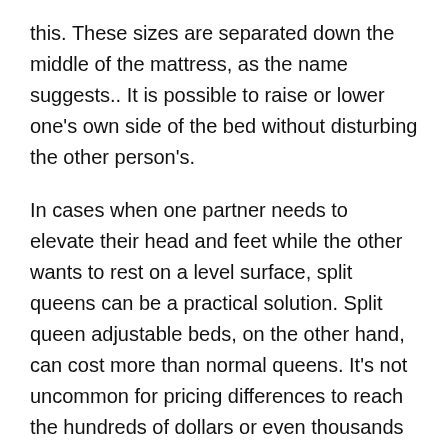this. These sizes are separated down the middle of the mattress, as the name suggests.. It is possible to raise or lower one's own side of the bed without disturbing the other person's.
In cases when one partner needs to elevate their head and feet while the other wants to rest on a level surface, split queens can be a practical solution. Split queen adjustable beds, on the other hand, can cost more than normal queens. It's not uncommon for pricing differences to reach the hundreds of dollars or even thousands of dollars.
How do I assemble an adjustable bed?